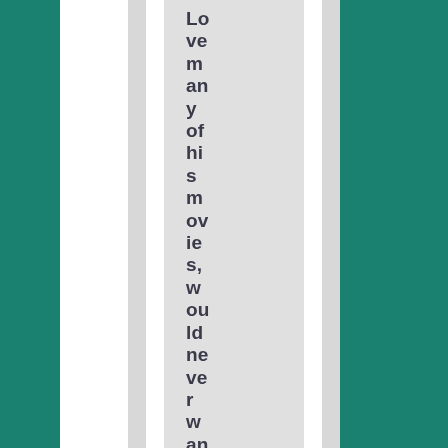Love many of his movies, wouldn't never want